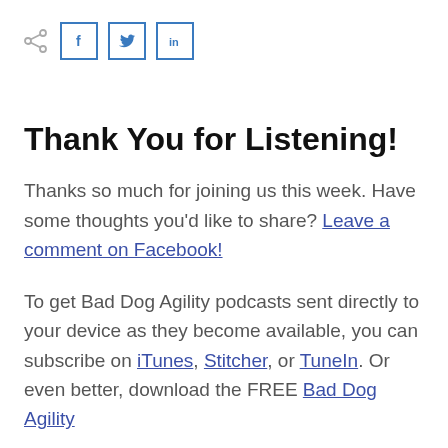[Figure (other): Share icon and social media buttons for Facebook (f), Twitter (bird), and LinkedIn (in)]
Thank You for Listening!
Thanks so much for joining us this week. Have some thoughts you'd like to share? Leave a comment on Facebook!
To get Bad Dog Agility podcasts sent directly to your device as they become available, you can subscribe on iTunes, Stitcher, or TuneIn. Or even better, download the FREE Bad Dog Agility